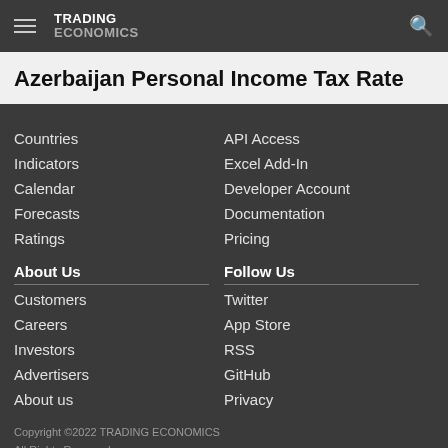TRADING ECONOMICS
Azerbaijan Personal Income Tax Rate
Countries
API Access
Indicators
Excel Add-In
Calendar
Developer Account
Forecasts
Documentation
Ratings
Pricing
About Us
Follow Us
Customers
Twitter
Careers
App Store
Investors
RSS
Advertisers
GitHub
About us
Privacy
Copyright ©2022 TRADING ECONOMICS
All Rights Reserved